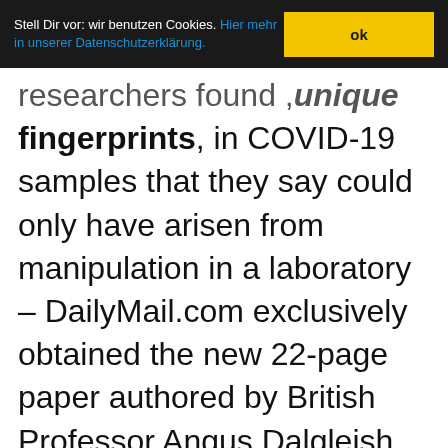Stell Dir vor: wir benutzen Cookies. Hier mehr in unserer Datenschutzerklärung. ok
researchers found ,'unique fingerprints', in COVID-19 samples that they say could only have arisen from manipulation in a laboratory – DailyMail.com exclusively obtained the new 22-page paper authored by British Professor Angus Dalgleish and Norwegian scientist Dr. Birger Sørensen set to be published in the